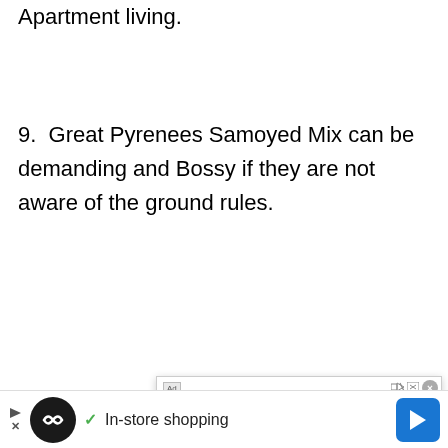Apartment living.
9. Great Pyrenees Samoyed Mix can be demanding and Bossy if they are not aware of the ground rules.
[Figure (screenshot): Ad screenshot showing Rainbow Bridge Pet Services - Private Pet Cremation ad with video overlay message 'No compatible source was found for this media.' and NPETCARE branding, rainbowbridgepetservice.com URL, and a VISIT SITE button. Below is an in-store shopping advertisement bar with a dark circular logo, checkmark, and navigation arrow.]